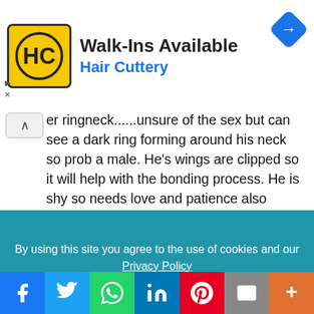[Figure (advertisement): Hair Cuttery advertisement banner with HC logo in yellow square and blue navigation diamond icon. Text: Walk-Ins Available, Hair Cuttery]
er ringneck......unsure of the sex but can see a dark ring forming around his neck so prob a male. He's wings are clipped so it will help with the bonding process. He is shy so needs love and patience also would love an aviary to go to if someone has one. When he come to me he had chewed his tail feathers but they will grow back fine! He can step up on your finger and with patience he will learn to trust you. Never been aggressive at all.
By using this site you agree to the use of cookies and our Privacy Policy
[Figure (other): Allow button (green rounded pill button) for cookie consent]
[Figure (other): Social share bar with Facebook, Twitter, WhatsApp, LinkedIn, Pinterest, Email, and More buttons]